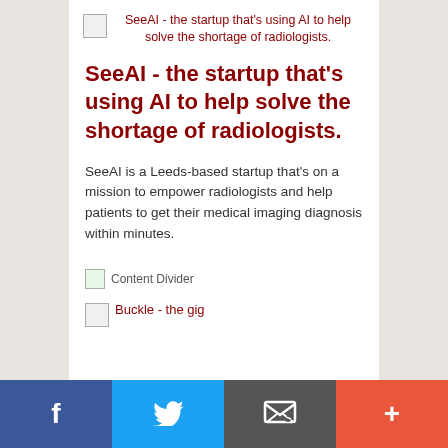[Figure (illustration): Small image placeholder with text: SeeAI - the startup that's using AI to help solve the shortage of radiologists.]
SeeAI - the startup that's using AI to help solve the shortage of radiologists.
SeeAI is a Leeds-based startup that's on a mission to empower radiologists and help patients to get their medical imaging diagnosis within minutes.
[Figure (illustration): Content Divider image placeholder]
[Figure (illustration): Small image placeholder with text: Buckle - the gig]
Facebook | Twitter | Email | +